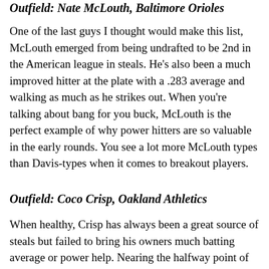Outfield: Nate McLouth, Baltimore Orioles
One of the last guys I thought would make this list, McLouth emerged from being undrafted to be 2nd in the American league in steals. He's also been a much improved hitter at the plate with a .283 average and walking as much as he strikes out. When you're talking about bang for you buck, McLouth is the perfect example of why power hitters are so valuable in the early rounds. You see a lot more McLouth types than Davis-types when it comes to breakout players.
Outfield: Coco Crisp, Oakland Athletics
When healthy, Crisp has always been a great source of steals but failed to bring his owners much batting average or power help. Nearing the halfway point of